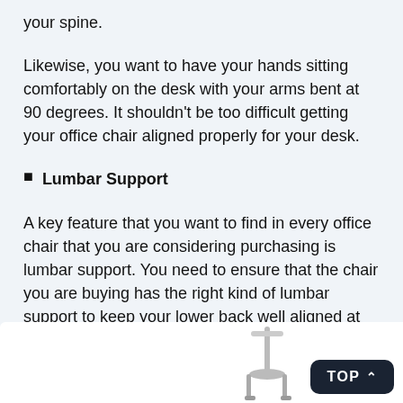your spine.
Likewise, you want to have your hands sitting comfortably on the desk with your arms bent at 90 degrees. It shouldn't be too difficult getting your office chair aligned properly for your desk.
Lumbar Support
A key feature that you want to find in every office chair that you are considering purchasing is lumbar support. You need to ensure that the chair you are buying has the right kind of lumbar support to keep your lower back well aligned at all times.
[Figure (photo): Partial image of an office chair visible at the bottom of the page, with a 'TOP ^' navigation button overlay in dark navy.]